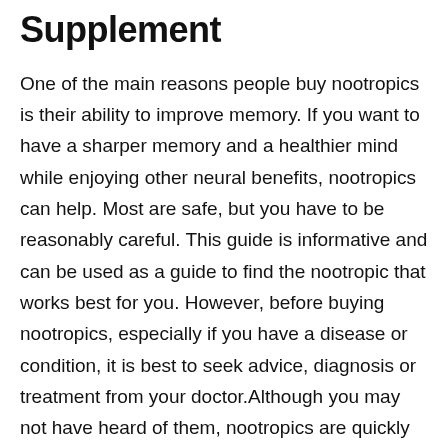Supplement
One of the main reasons people buy nootropics is their ability to improve memory. If you want to have a sharper memory and a healthier mind while enjoying other neural benefits, nootropics can help. Most are safe, but you have to be reasonably careful. This guide is informative and can be used as a guide to find the nootropic that works best for you. However, before buying nootropics, especially if you have a disease or condition, it is best to seek advice, diagnosis or treatment from your doctor.Although you may not have heard of them, nootropics are quickly becoming some of the most popular supplements on the market. These herbal